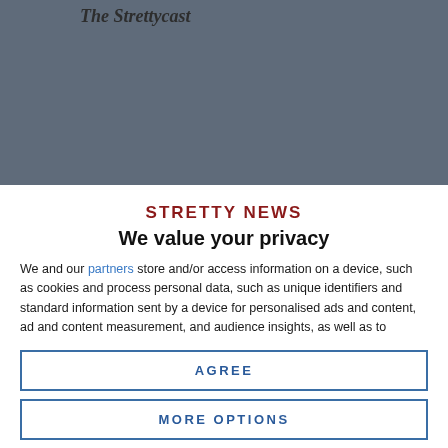The Strettycast
[Figure (screenshot): Dark grey background header area of a website]
STRETTY NEWS
We value your privacy
We and our partners store and/or access information on a device, such as cookies and process personal data, such as unique identifiers and standard information sent by a device for personalised ads and content, ad and content measurement, and audience insights, as well as to develop and improve products. With your permission we and our partners may use precise geolocation data and identification through device scanning. You may click to consent to our and our partners' processing as described above. Alternatively you may access more
AGREE
MORE OPTIONS